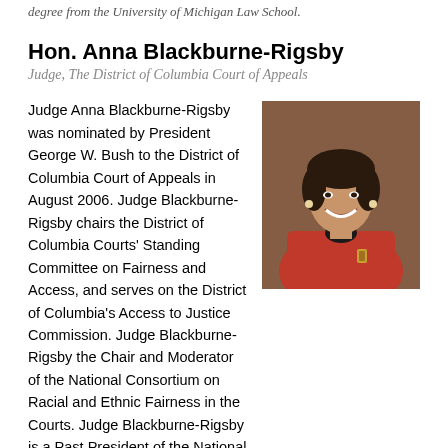degree from the University of Michigan Law School.
Hon. Anna Blackburne-Rigsby
Judge, The District of Columbia Court of Appeals
Judge Anna Blackburne-Rigsby was nominated by President George W. Bush to the District of Columbia Court of Appeals in August 2006. Judge Blackburne-Rigsby chairs the District of Columbia Courts' Standing Committee on Fairness and Access, and serves on the District of Columbia's Access to Justice Commission. Judge Blackburne-Rigsby the Chair and Moderator of the National Consortium on Racial and Ethnic Fairness in the Courts. Judge Blackburne-Rigsby is a Past President of the National Association of Women Judges (NAWJ) for the 2013-2014 term.
[Figure (photo): Portrait photo of Hon. Anna Blackburne-Rigsby, a woman wearing a red jacket, smiling, with a warm indoor background.]
Prior to her appointment to the District of Columbia Court of